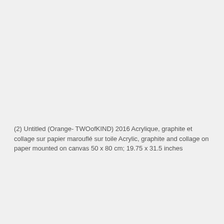(2) Untitled (Orange- TWOofKIND) 2016 Acrylique, graphite et collage sur papier marouflé sur toile Acrylic, graphite and collage on paper mounted on canvas 50 x 80 cm; 19.75 x 31.5 inches